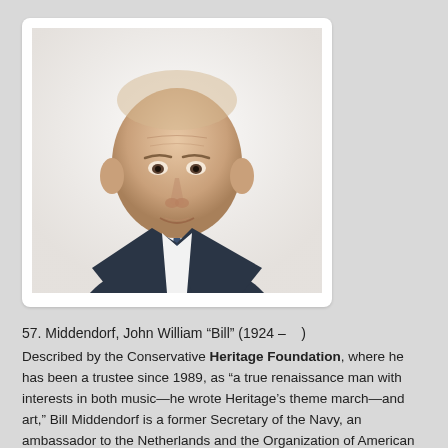[Figure (photo): Portrait photograph of an elderly man in a dark suit and tie, with short white/grey hair, against a white background.]
57. Middendorf, John William “Bill” (1924 –    )
Described by the Conservative Heritage Foundation, where he has been a trustee since 1989, as “a true renaissance man with interests in both music—he wrote Heritage’s theme march—and art,” Bill Middendorf is a former Secretary of the Navy, an ambassador to the Netherlands and the Organization of American States, and a successful investment banker. http://www.heritage.org/about/board-of-trustees/j-william-middendorf